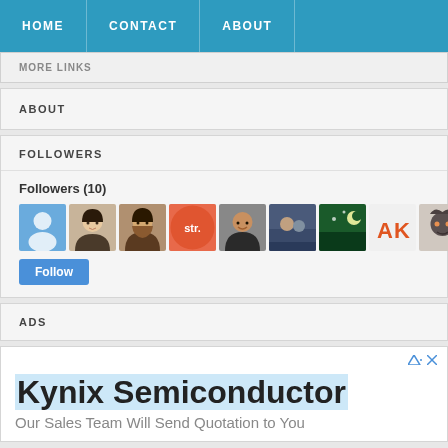HOME   CONTACT   ABOUT
MORE LINKS
ABOUT
FOLLOWERS
Followers (10)
[Figure (other): Row of 10 follower avatar thumbnails]
Follow
ADS
Kynix Semiconductor
Our Sales Team Will Send Quotation to You